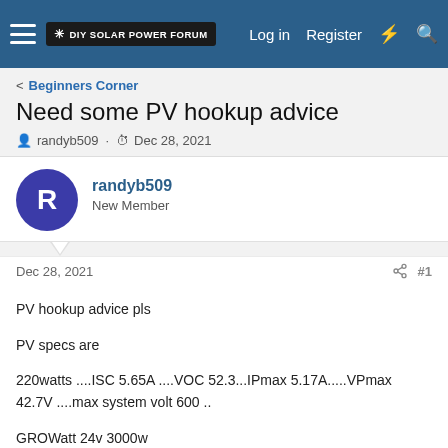DIY Solar Power Forum — Log in  Register
Beginners Corner
Need some PV hookup advice
randyb509 · Dec 28, 2021
randyb509
New Member
Dec 28, 2021  #1
PV hookup advice pls
PV specs are
220watts ....ISC 5.65A ....VOC 52.3...IPmax 5.17A.....VPmax 42.7V ....max system volt 600 ..
GROWatt 24v 3000w
Max voc 145 ..
I have 6 of those solar panels the voc gets to high for the growatt max voc I was told to wire my PV in series parallel that will give me 880watts and the voc 104.6 2 panels in each string